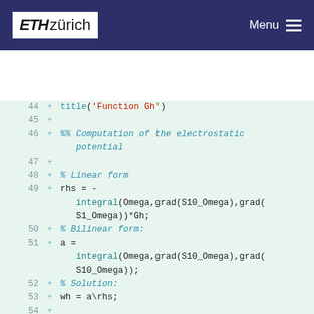ETH zürich  Menu
44  + title('Function Gh')
45  +
46  + %% Computation of the electrostatic potential
47  +
48  + % Linear form
49  + rhs = - integral(Omega,grad(S10_Omega),grad(S1_Omega))*Gh;
50  + % Bilinear form:
51  + a = integral(Omega,grad(S10_Omega),grad(S10_Omega));
52  + % Solution:
53  + wh = a\rhs;
54  +
55  + P = elimination(S1_Omega,m_Gamma);
56  + Uh = P*wh + Gh;
57  +
58  + figure